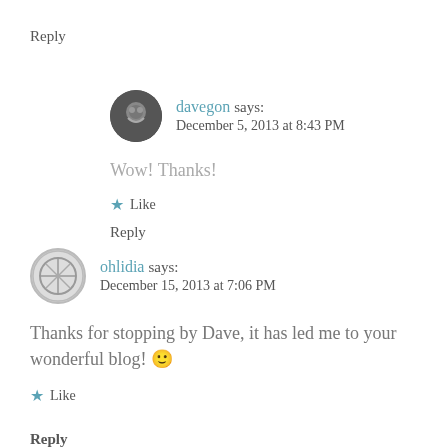Reply
davegon says: December 5, 2013 at 8:43 PM
Wow! Thanks!
★ Like
Reply
ohlidia says: December 15, 2013 at 7:06 PM
Thanks for stopping by Dave, it has led me to your wonderful blog! 🙂
★ Like
Reply